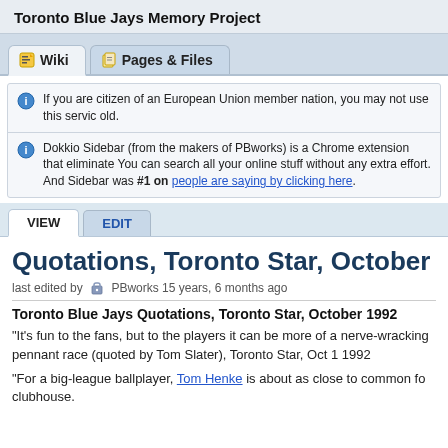Toronto Blue Jays Memory Project
Wiki | Pages & Files
If you are citizen of an European Union member nation, you may not use this service old.
Dokkio Sidebar (from the makers of PBworks) is a Chrome extension that eliminates You can search all your online stuff without any extra effort. And Sidebar was #1 on people are saying by clicking here.
VIEW | EDIT
Quotations, Toronto Star, October 19
last edited by PBworks 15 years, 6 months ago
Toronto Blue Jays Quotations, Toronto Star, October 1992
"It's fun to the fans, but to the players it can be more of a nerve-wracking pennant race (quoted by Tom Slater), Toronto Star, Oct 1 1992
"For a big-league ballplayer, Tom Henke is about as close to common fo clubhouse.